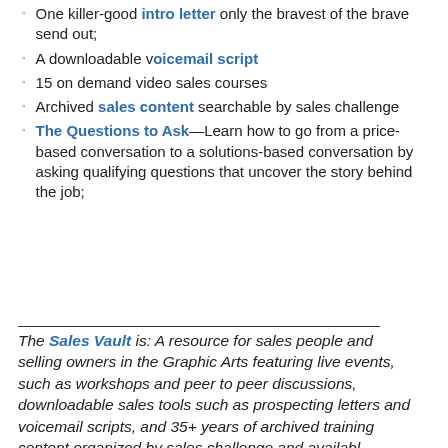One killer-good intro letter only the bravest of the brave send out;
A downloadable voicemail script
15 on demand video sales courses
Archived sales content searchable by sales challenge
The Questions to Ask—Learn how to go from a price-based conversation to a solutions-based conversation by asking qualifying questions that uncover the story behind the job;
The Sales Vault is: A resource for sales people and selling owners in the Graphic Arts featuring live events, such as workshops and peer to peer discussions, downloadable sales tools such as prospecting letters and voicemail scripts, and 35+ years of archived training content organized by sales challenge and available...